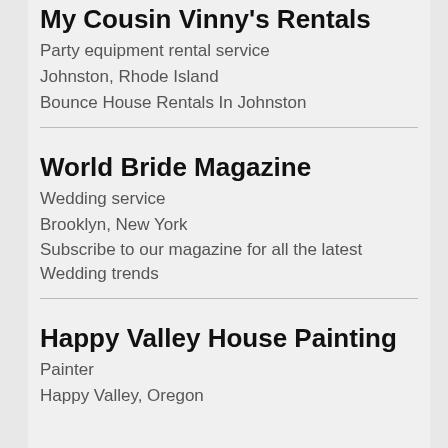My Cousin Vinny's Rentals
Party equipment rental service
Johnston, Rhode Island
Bounce House Rentals In Johnston
World Bride Magazine
Wedding service
Brooklyn, New York
Subscribe to our magazine for all the latest Wedding trends
Happy Valley House Painting
Painter
Happy Valley, Oregon